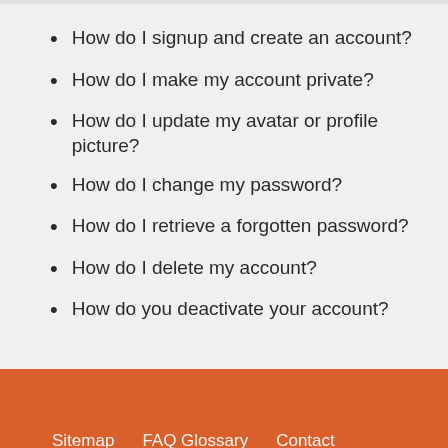How do I signup and create an account?
How do I make my account private?
How do I update my avatar or profile picture?
How do I change my password?
How do I retrieve a forgotten password?
How do I delete my account?
How do you deactivate your account?
Sitemap   FAQ Glossary   Contact
Copyright www.officialme.com